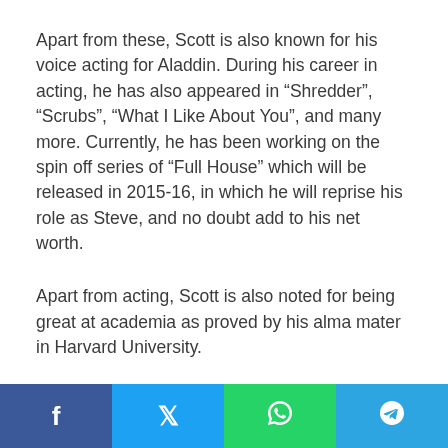Apart from these, Scott is also known for his voice acting for Aladdin. During his career in acting, he has also appeared in “Shredder”, “Scrubs”, “What I Like About You”, and many more. Currently, he has been working on the spin off series of “Full House” which will be released in 2015-16, in which he will reprise his role as Steve, and no doubt add to his net worth.
Apart from acting, Scott is also noted for being great at academia as proved by his alma mater in Harvard University.
As of now, Scott has been working as a
f  t  (whatsapp icon)  (telegram icon)